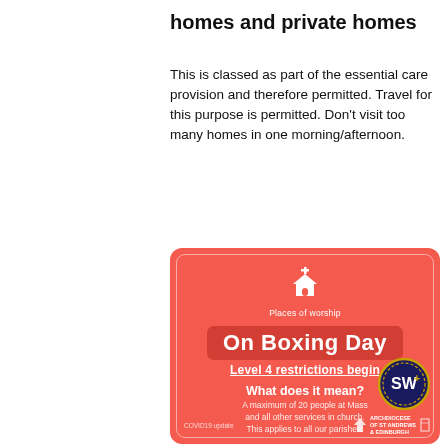homes and private homes
This is classed as part of the essential care provision and therefore permitted. Travel for this purpose is permitted. Don’t visit too many homes in one morning/afternoon.
[Figure (infographic): Red card graphic for 'Places of worship' with church icon at top. Reads: 'On Boxing Day / Level 4 restrictions begin / What does it mean? / A maximum of 20 people at Mass and all other services in church. This applies to all our parishes. / For how long? / Sat 26 Dec – Sat 16 Jan'. Includes SW+ badge and Archdiocese logo at bottom. Footer reads 'COVID19 update'.]